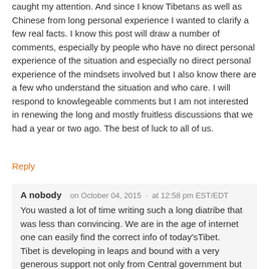caught my attention. And since I know Tibetans as well as Chinese from long personal experience I wanted to clarify a few real facts. I know this post will draw a number of comments, especially by people who have no direct personal experience of the situation and especially no direct personal experience of the mindsets involved but I also know there are a few who understand the situation and who care. I will respond to knowlegeable comments but I am not interested in renewing the long and mostly fruitless discussions that we had a year or two ago. The best of luck to all of us.
Reply
A nobody   on October 04, 2015 · at 12:58 pm EST/EDT
You wasted a lot of time writing such a long diatribe that was less than convincing. We are in the age of internet one can easily find the correct info of today'sTibet.
Tibet is developing in leaps and bound with a very generous support not only from Central government but also from many local governments of different provinces in all sorts of area conducive to the development of Tibet in China.
I could safely say as confirmed by many foreign tourists and